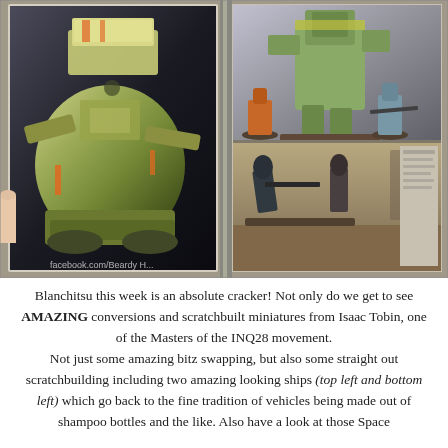[Figure (photo): A photograph of an open book showing Warhammer 40K miniatures. The left page features a large green scratchbuilt mech/vehicle. The top-right of the right page shows Space Marine figures including a large armored robot/walker and smaller soldiers. The bottom-right shows smaller action scene figures on bases. A thumb is visible on the left edge. A watermark reading 'facebook.com/Beardy H...' is visible at the bottom.]
Blanchitsu this week is an absolute cracker! Not only do we get to see AMAZING conversions and scratchbuilt miniatures from Isaac Tobin, one of the Masters of the INQ28 movement. Not just some amazing bitz swapping, but also some straight out scratchbuilding including two amazing looking ships (top left and bottom left) which go back to the fine tradition of vehicles being made out of shampoo bottles and the like. Also have a look at those Space